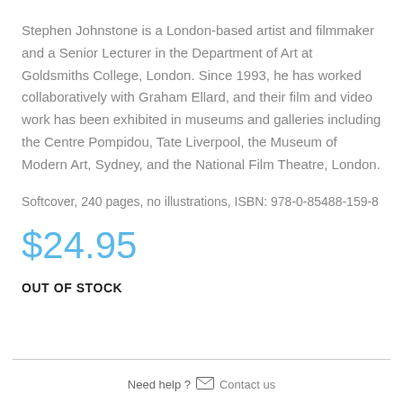Stephen Johnstone is a London-based artist and filmmaker and a Senior Lecturer in the Department of Art at Goldsmiths College, London. Since 1993, he has worked collaboratively with Graham Ellard, and their film and video work has been exhibited in museums and galleries including the Centre Pompidou, Tate Liverpool, the Museum of Modern Art, Sydney, and the National Film Theatre, London.
Softcover, 240 pages, no illustrations, ISBN: 978-0-85488-159-8
$24.95
OUT OF STOCK
Need help ? Contact us